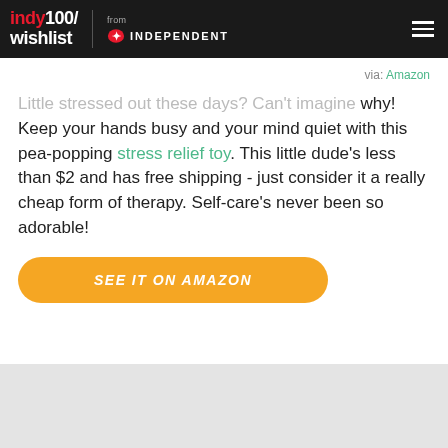indy100/ wishlist from INDEPENDENT
via: Amazon
Little stressed out these days? Can't imagine why! Keep your hands busy and your mind quiet with this pea-popping stress relief toy. This little dude's less than $2 and has free shipping - just consider it a really cheap form of therapy. Self-care's never been so adorable!
SEE IT ON AMAZON
[Figure (other): Gray placeholder box at bottom of page]